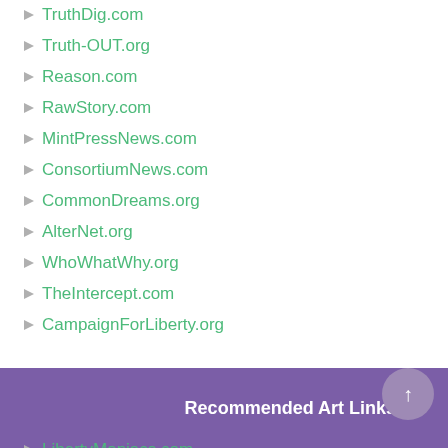TruthDig.com
Truth-OUT.org
Reason.com
RawStory.com
MintPressNews.com
ConsortiumNews.com
CommonDreams.org
AlterNet.org
WhoWhatWhy.org
TheIntercept.com
CampaignForLiberty.org
Recommended Art Links
LibertyManiacs.com